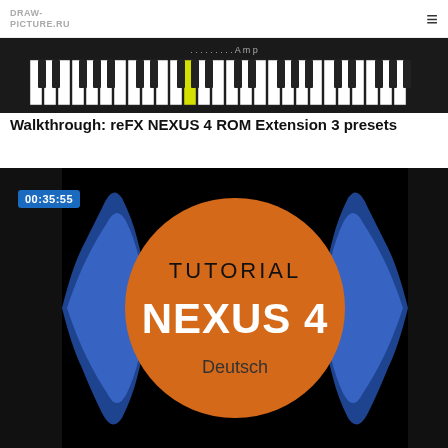DRAW-PICTURE.RU
[Figure (photo): Keyboard/synthesizer image showing piano keys with a yellow highlight key, dark body]
Walkthrough: reFX NEXUS 4 ROM Extension 3 presets
[Figure (screenshot): Video thumbnail showing tutorial for NEXUS 4 in Deutsch. Orange circle with TUTORIAL and NEXUS 4 text, blue audio waveforms on each side, timestamp 00:35:55 in top left corner on black background]